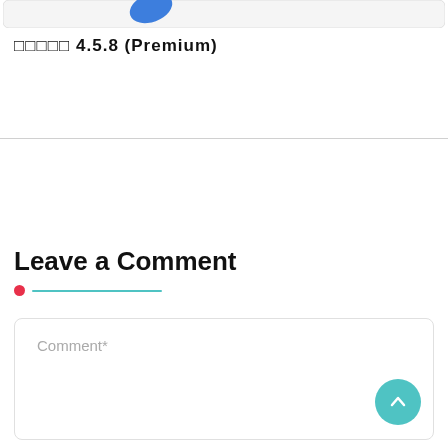[Figure (screenshot): Top card with blue logo/shape partially visible]
□□□□□ 4.5.8 (Premium)
Leave a Comment
[Figure (other): Comment text area input box with placeholder text 'Comment*' and a teal scroll-to-top button]
Comment*